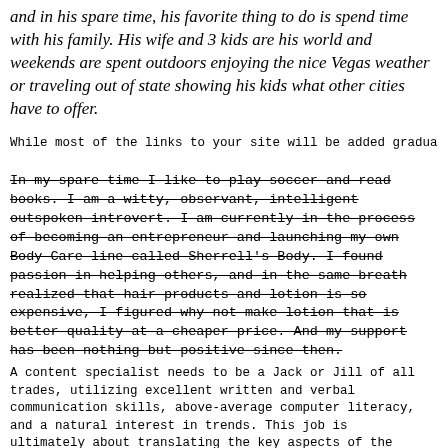and in his spare time, his favorite thing to do is spend time with his family. His wife and 3 kids are his world and weekends are spent outdoors enjoying the nice Vegas weather or traveling out of state showing his kids what other cities have to offer.
While most of the links to your site will be added gradua
In my spare time I like to play soccer and read books. I am a witty, observant, intelligent outspoken introvert. I am currently in the process of becoming an entrepreneur and launching my own Body Care line called Sherrell's Body. I found passion in helping others, and in the same breath realized that hair products and lotion is so expensive, I figured why not make lotion that is better quality at a cheaper price. And my support has been nothing but positive since then.
A content specialist needs to be a Jack or Jill of all trades, utilizing excellent written and verbal communication skills, above-average computer literacy, and a natural interest in trends. This job is ultimately about translating the key aspects of the product into content the target demographic finds appealing. This is part art, part critical thinking, and 100% attention to detail.